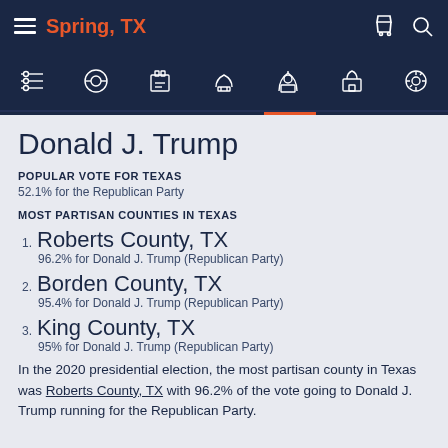Spring, TX
Donald J. Trump
POPULAR VOTE FOR TEXAS
52.1% for the Republican Party
MOST PARTISAN COUNTIES IN TEXAS
1. Roberts County, TX — 96.2% for Donald J. Trump (Republican Party)
2. Borden County, TX — 95.4% for Donald J. Trump (Republican Party)
3. King County, TX — 95% for Donald J. Trump (Republican Party)
In the 2020 presidential election, the most partisan county in Texas was Roberts County, TX with 96.2% of the vote going to Donald J. Trump running for the Republican Party.